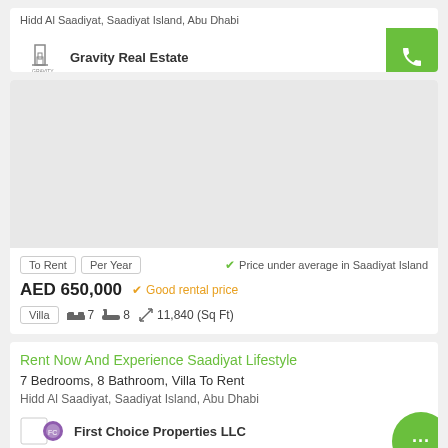Hidd Al Saadiyat, Saadiyat Island, Abu Dhabi
Gravity Real Estate
[Figure (illustration): Blank property image placeholder]
To Rent  Per Year    ✓ Price under average in Saadiyat Island
AED 650,000  ✓ Good rental price
Villa  7 bedrooms  8 bathrooms  11,840 (Sq Ft)
Rent Now And Experience Saadiyat Lifestyle
7 Bedrooms, 8 Bathroom, Villa To Rent
Hidd Al Saadiyat, Saadiyat Island, Abu Dhabi
First Choice Properties LLC